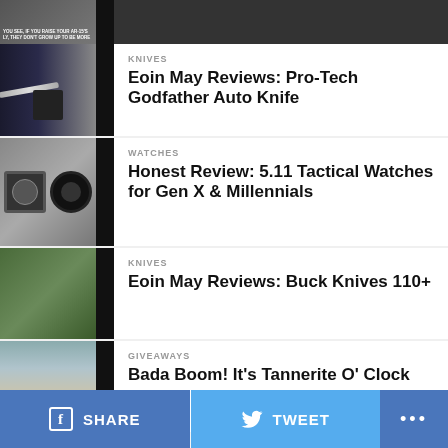[Figure (photo): Partial top image with dark background and small text overlay]
KNIVES
Eoin May Reviews: Pro-Tech Godfather Auto Knife
[Figure (photo): Two tactical watches on dark background]
WATCHES
Honest Review: 5.11 Tactical Watches for Gen X & Millennials
[Figure (photo): Green folding knife on mossy surface]
KNIVES
Eoin May Reviews: Buck Knives 110+
[Figure (photo): Shooter at outdoor range with dirt backdrop]
GIVEAWAYS
Bada Boom! It’s Tannerite O’ Clock
SHARE   TWEET   ...